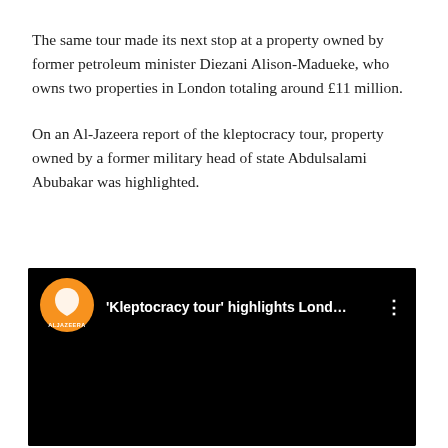The same tour made its next stop at a property owned by former petroleum minister Diezani Alison-Madueke, who owns two properties in London totaling around £11 million.
On an Al-Jazeera report of the kleptocracy tour, property owned by a former military head of state Abdulsalami Abubakar was highlighted.
[Figure (screenshot): Embedded video thumbnail showing Al Jazeera YouTube video titled 'Kleptocracy tour' highlights Lond... with Al Jazeera logo (orange circle with white flame icon and ALJAZEERA text) on black background, with three-dot menu icon]